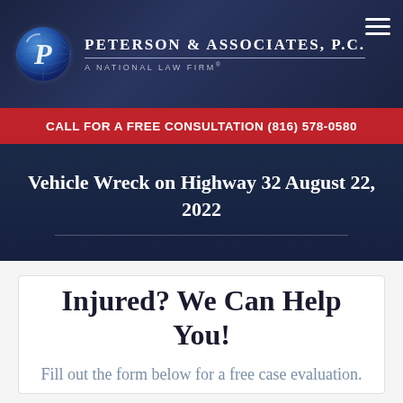[Figure (logo): Peterson & Associates P.C. law firm logo with globe icon and firm name]
CALL FOR A FREE CONSULTATION (816) 578-0580
Vehicle Wreck on Highway 32 August 22, 2022
Injured? We Can Help You!
Fill out the form below for a free case evaluation.